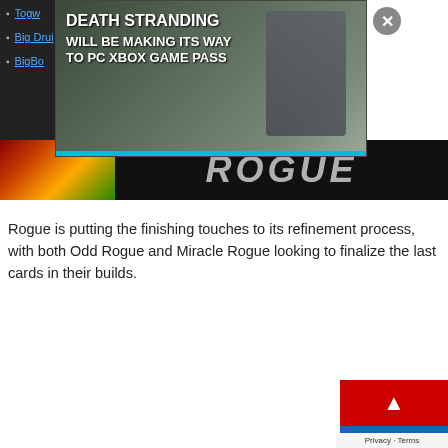Togw...
Big Drui...
BigBo...
[Figure (screenshot): Death Stranding advertisement overlay showing 'DEATH STRANDING WILL BE MAKING ITS WAY TO PC XBOX GAME PASS' text on a dark background with a character and close button]
[Figure (screenshot): Rogue banner image with colorful character art on left and ROGUE title text on dark background]
Rogue is putting the finishing touches to its refinement process, with both Odd Rogue and Miracle Rogue looking to finalize the last cards in their builds.
[Figure (screenshot): Bottom-right corner widget with red background, up arrow, and Privacy/Terms text]